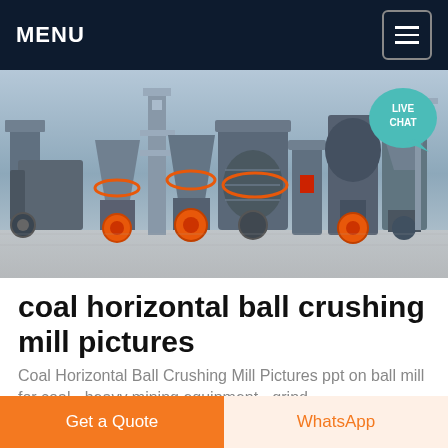MENU
[Figure (photo): Industrial mining/crushing equipment and machinery lineup on a yard, including cone crushers, ball mills, and conveyor systems. A live chat bubble is visible in the top-right corner.]
coal horizontal ball crushing mill pictures
Coal Horizontal Ball Crushing Mill Pictures ppt on ball mill for coal - heavy mining equipment - grind...